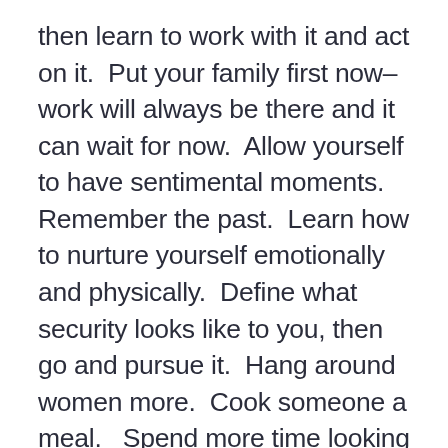then learn to work with it and act on it.  Put your family first now–work will always be there and it can wait for now.  Allow yourself to have sentimental moments.  Remember the past.  Learn how to nurture yourself emotionally and physically.  Define what security looks like to you, then go and pursue it.  Hang around women more.  Cook someone a meal.   Spend more time looking after children.  Go to the pool or hot tub, or spend time around lakes or the ocean.  Give someone a healing foot massage (where there is nothing in it for you in return.)   Sit down with a friend you know who is experiencing difficulty and just listen to them talk, supporting them emotionally (without offering practical advice or trying to fix them).  If you find nurturing other people